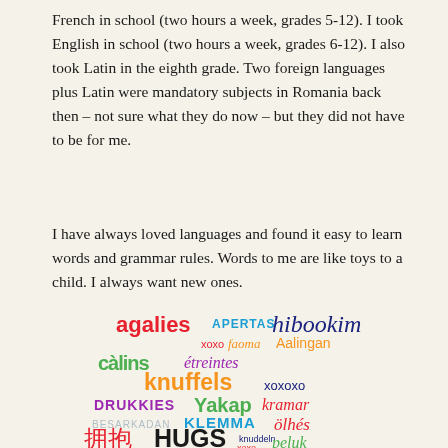French in school (two hours a week, grades 5-12). I took English in school (two hours a week, grades 6-12). I also took Latin in the eighth grade. Two foreign languages plus Latin were mandatory subjects in Romania back then – not sure what they do now – but they did not have to be for me.
I have always loved languages and found it easy to learn words and grammar rules. Words to me are like toys to a child. I always want new ones.
[Figure (infographic): Word cloud showing words meaning 'hugs' in various languages and scripts, including: agalies, APERTAS, hibookim, xoxo, faoma, Aalingan, câlins, étreintes, knuffels, xoxoxo, DRUKKIES, Yakap, kramar, BESARKADAN, KLEMMA, ölhés, 拥抱, HUGS, knuddeln, xoxo, peluk, xoxo, Umarmung, ZAGRLI, JA, JI, xoxo — displayed in multiple colors and font styles]